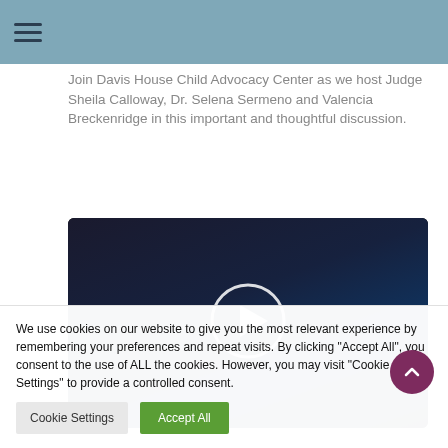≡
Join Davis House Child Advocacy Center as we host Judge Sheila Calloway, Dr. Selena Sermeno and Valencia Breckenridge in this important and thoughtful discussion.
[Figure (photo): Dark video thumbnail showing the silhouette of a person from behind with a circular play button overlay in the center.]
We use cookies on our website to give you the most relevant experience by remembering your preferences and repeat visits. By clicking "Accept All", you consent to the use of ALL the cookies. However, you may visit "Cookie Settings" to provide a controlled consent.
Cookie Settings
Accept All